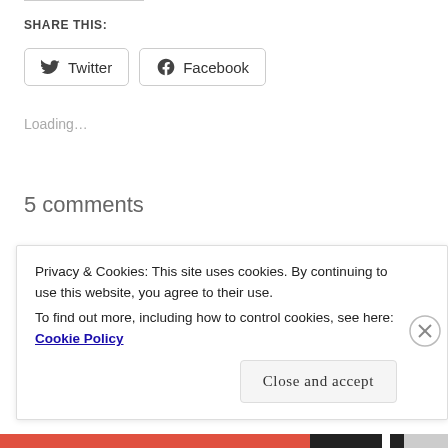SHARE THIS:
[Figure (other): Twitter and Facebook share buttons with icons]
Loading...
5 comments
Search ...
Privacy & Cookies: This site uses cookies. By continuing to use this website, you agree to their use.
To find out more, including how to control cookies, see here: Cookie Policy
Close and accept